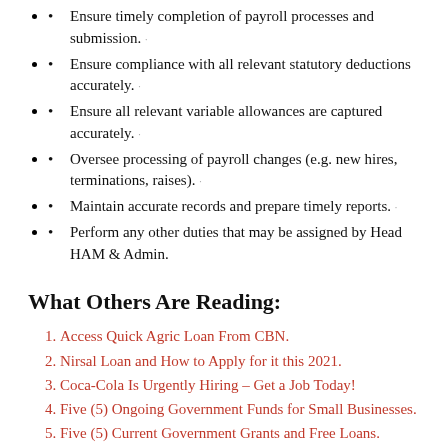Ensure timely completion of payroll processes and submission.
Ensure compliance with all relevant statutory deductions accurately.
Ensure all relevant variable allowances are captured accurately.
Oversee processing of payroll changes (e.g. new hires, terminations, raises).
Maintain accurate records and prepare timely reports.
Perform any other duties that may be assigned by Head HAM & Admin.
What Others Are Reading:
Access Quick Agric Loan From CBN.
Nirsal Loan and How to Apply for it this 2021.
Coca-Cola Is Urgently Hiring – Get a Job Today!
Five (5) Ongoing Government Funds for Small Businesses.
Five (5) Current Government Grants and Free Loans.